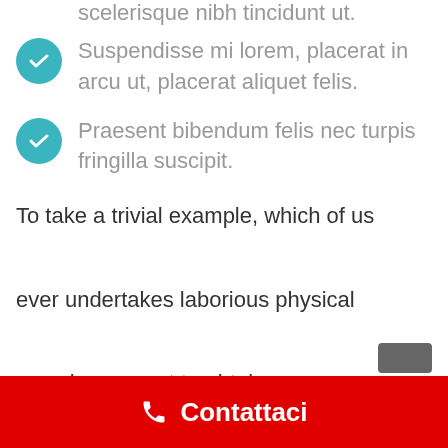scelerisque nibh tincidunt ut.
Suspendisse mi lorem, placerat in arcu ut, placerat aliquet felis.
Praesent bibendum felis nec turpis fringilla suscipit.
To take a trivial example, which of us ever undertakes laborious physical exercise, except to obtain some advantage from it? But who has any right to find fault with a man who
Contattaci